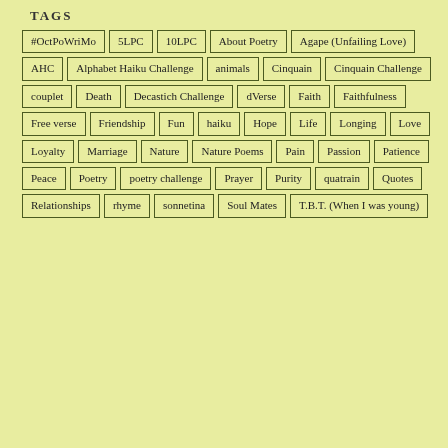TAGS
#OctPoWriMo
5LPC
10LPC
About Poetry
Agape (Unfailing Love)
AHC
Alphabet Haiku Challenge
animals
Cinquain
Cinquain Challenge
couplet
Death
Decastich Challenge
dVerse
Faith
Faithfulness
Free verse
Friendship
Fun
haiku
Hope
Life
Longing
Love
Loyalty
Marriage
Nature
Nature Poems
Pain
Passion
Patience
Peace
Poetry
poetry challenge
Prayer
Purity
quatrain
Quotes
Relationships
rhyme
sonnetina
Soul Mates
T.B.T. (When I was young)